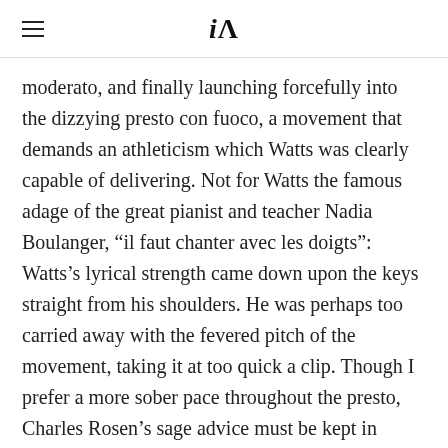iA
moderato, and finally launching forcefully into the dizzying presto con fuoco, a movement that demands an athleticism which Watts was clearly capable of delivering. Not for Watts the famous adage of the great pianist and teacher Nadia Boulanger, “il faut chanter avec les doigts”: Watts’s lyrical strength came down upon the keys straight from his shoulders. He was perhaps too carried away with the fevered pitch of the movement, taking it at too quick a clip. Though I prefer a more sober pace throughout the presto, Charles Rosen’s sage advice must be kept in mind: “It is not illegal to play a piece of music at the wrong tempo: we